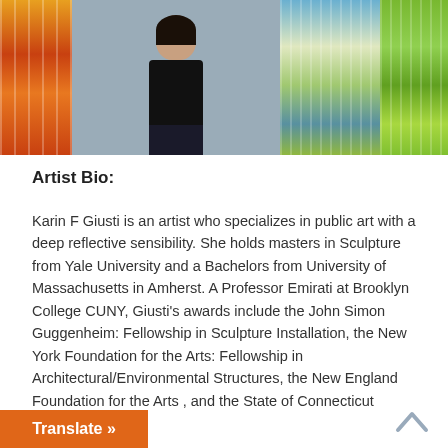[Figure (photo): Photo of Karin F Giusti standing in front of her artwork — a series of vertical panels showing seasonal/nature scenes (orange autumn on left, white/grey in center, green/blue on right). She is wearing a black top and dark jeans.]
Artist Bio:
Karin F Giusti is an artist who specializes in public art with a deep reflective sensibility. She holds masters in Sculpture from Yale University and a Bachelors from University of Massachusetts in Amherst. A Professor Emirati at Brooklyn College CUNY, Giusti's awards include the John Simon Guggenheim: Fellowship in Sculpture Installation, the New York Foundation for the Arts: Fellowship in Architectural/Environmental Structures, the New England Foundation for the Arts , and the State of Connecticut